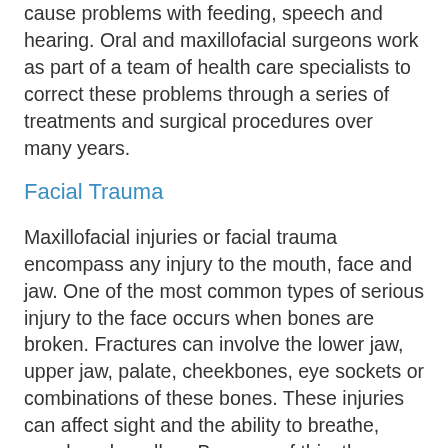cause problems with feeding, speech and hearing. Oral and maxillofacial surgeons work as part of a team of health care specialists to correct these problems through a series of treatments and surgical procedures over many years.
Facial Trauma
Maxillofacial injuries or facial trauma encompass any injury to the mouth, face and jaw. One of the most common types of serious injury to the face occurs when bones are broken. Fractures can involve the lower jaw, upper jaw, palate, cheekbones, eye sockets or combinations of these bones. These injuries can affect sight and the ability to breathe, speak and swallow. Because of this, the expertise of the oral and